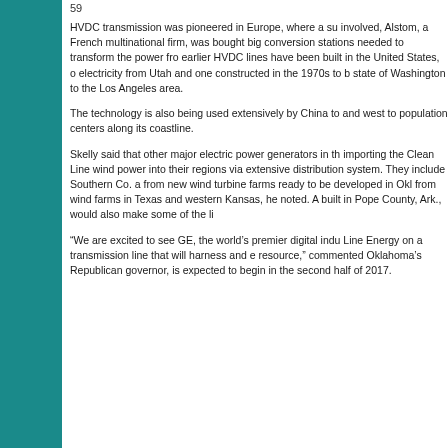59
HVDC transmission was pioneered in Europe, where a su involved, Alstom, a French multinational firm, was bought big conversion stations needed to transform the power fro earlier HVDC lines have been built in the United States, o electricity from Utah and one constructed in the 1970s to b state of Washington to the Los Angeles area.
The technology is also being used extensively by China to and west to population centers along its coastline.
Skelly said that other major electric power generators in th importing the Clean Line wind power into their regions via extensive distribution system. They include Southern Co. a from new wind turbine farms ready to be developed in Okl from wind farms in Texas and western Kansas, he noted. A built in Pope County, Ark., would also make some of the li
“We are excited to see GE, the world’s premier digital indu Line Energy on a transmission line that will harness and e resource,” commented Oklahoma’s Republican governor, is expected to begin in the second half of 2017.